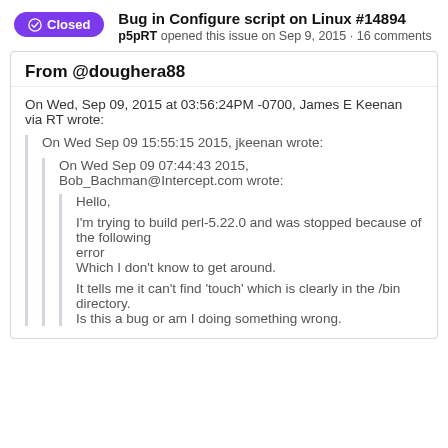Bug in Configure script on Linux #14894
p5pRT opened this issue on Sep 9, 2015 · 16 comments
From @doughera88
On Wed, Sep 09, 2015 at 03:56:24PM -0700, James E Keenan via RT wrote:
On Wed Sep 09 15:55:15 2015, jkeenan wrote:
On Wed Sep 09 07:44:43 2015, Bob_Bachman@Intercept.com wrote:
Hello,

I'm trying to build perl-5.22.0 and was stopped because of the following
error
Which I don't know to get around.

It tells me it can't find 'touch' which is clearly in the /bin directory.
Is this a bug or am I doing something wrong.